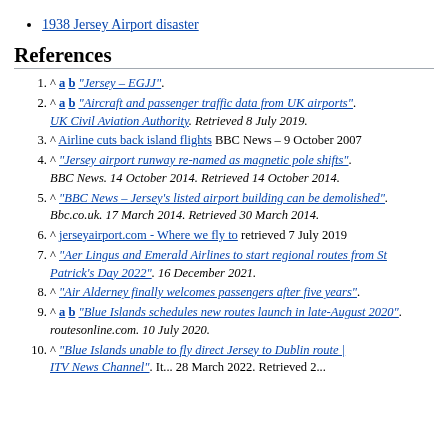1938 Jersey Airport disaster
References
1. ^ a b "Jersey – EGJJ".
2. ^ a b "Aircraft and passenger traffic data from UK airports". UK Civil Aviation Authority. Retrieved 8 July 2019.
3. ^ Airline cuts back island flights BBC News – 9 October 2007
4. ^ "Jersey airport runway re-named as magnetic pole shifts". BBC News. 14 October 2014. Retrieved 14 October 2014.
5. ^ "BBC News – Jersey's listed airport building can be demolished". Bbc.co.uk. 17 March 2014. Retrieved 30 March 2014.
6. ^ jerseyairport.com - Where we fly to retrieved 7 July 2019
7. ^ "Aer Lingus and Emerald Airlines to start regional routes from St Patrick's Day 2022". 16 December 2021.
8. ^ "Air Alderney finally welcomes passengers after five years".
9. ^ a b "Blue Islands schedules new routes launch in late-August 2020". routesonline.com. 10 July 2020.
10. ^ "Blue Islands unable to fly direct Jersey to Dublin route | ITV News Channel". It... 28 March 2022. Retrieved 2...